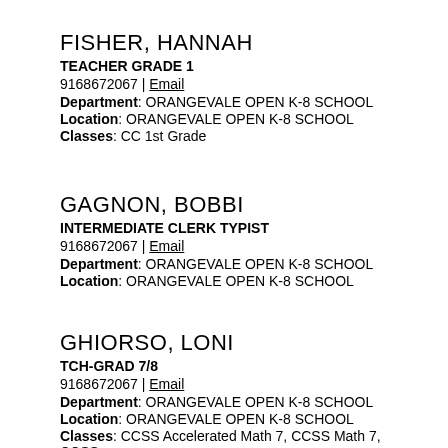FISHER, HANNAH
TEACHER GRADE 1
9168672067 | Email
Department: ORANGEVALE OPEN K-8 SCHOOL
Location: ORANGEVALE OPEN K-8 SCHOOL
Classes: CC 1st Grade
GAGNON, BOBBI
INTERMEDIATE CLERK TYPIST
9168672067 | Email
Department: ORANGEVALE OPEN K-8 SCHOOL
Location: ORANGEVALE OPEN K-8 SCHOOL
GHIORSO, LONI
TCH-GRAD 7/8
9168672067 | Email
Department: ORANGEVALE OPEN K-8 SCHOOL
Location: ORANGEVALE OPEN K-8 SCHOOL
Classes: CCSS Accelerated Math 7, CCSS Math 7, CCSS Math 8, Homeroom 6/7/8, MS Integrated Math 1